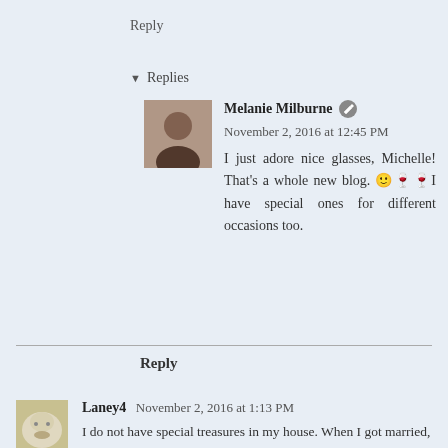Reply
▾ Replies
Melanie Milburne  November 2, 2016 at 12:45 PM
I just adore nice glasses, Michelle! That's a whole new blog. 🙂🍷🍷I have special ones for different occasions too.
Reply
Laney4  November 2, 2016 at 1:13 PM
I do not have special treasures in my house. When I got married, I specifically didn't want a "good china set" nor a "silverware set". I wanted everyday things to use every day.
Shortly after marrying, my husband bought me a beautiful watch that had a fine dangling chain on it. I said it would get caught on ...